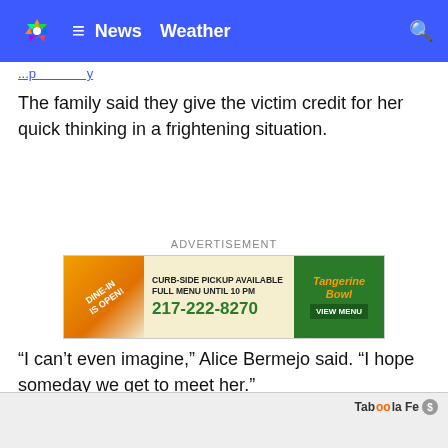NBC News Weather
The family said they give the victim credit for her quick thinking in a frightening situation.
[Figure (other): Advertisement banner for Tangerine Bowl restaurant: Dine-In is OPEN! Curb-Side Pickup Available. Full Menu Until 10 PM. 217-222-8270. View Menu.]
“I can’t even imagine,” Alice Bermejo said. “I hope someday we get to meet her.”
Copyright 2022 WABC via CNN Newsource. All rights reserved.